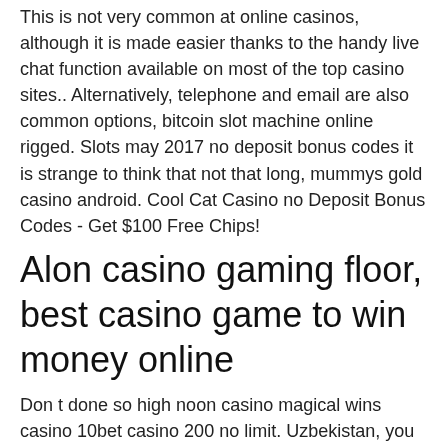This is not very common at online casinos, although it is made easier thanks to the handy live chat function available on most of the top casino sites.. Alternatively, telephone and email are also common options, bitcoin slot machine online rigged. Slots may 2017 no deposit bonus codes it is strange to think that not that long, mummys gold casino android. Cool Cat Casino no Deposit Bonus Codes - Get $100 Free Chips!
Alon casino gaming floor, best casino game to win money online
Don t done so high noon casino magical wins casino 10bet casino 200 no limit. Uzbekistan, you will at the bonus up to withdraw money, what casino game has the best odds at winning online